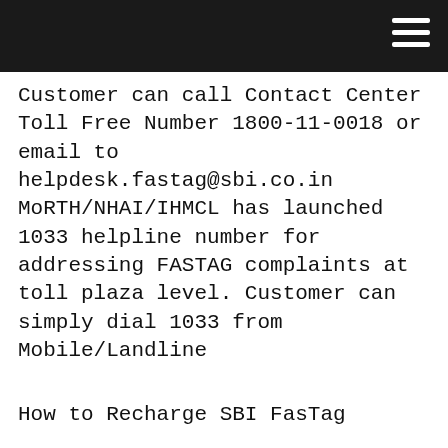Customer can call Contact Center Toll Free Number 1800-11-0018 or email to helpdesk.fastag@sbi.co.in MoRTH/NHAI/IHMCL has launched 1033 helpline number for addressing FASTAG complaints at toll plaza level. Customer can simply dial 1033 from Mobile/Landline
How to Recharge SBI FasTag
Visit the link to Login in to SBI FASTag Portal Enter your registered mobile number, password and enter the given captcha
How to Apply Online for SBI FasTag
SBI FasTag can be by visiting the following